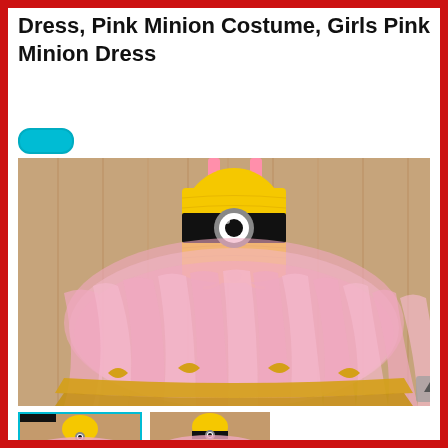Dress, Pink Minion Costume, Girls Pink Minion Dress
[Figure (photo): A pink and yellow minion-themed tutu dress for girls, displayed on a wooden background. The dress features a yellow crocheted bodice with a minion eye (black band with grey and white goggle), pink shoulder straps, and a fluffy pink tutu skirt trimmed with yellow satin ribbon.]
[Figure (photo): Thumbnail 1: small image of the same pink minion tutu dress]
[Figure (photo): Thumbnail 2: small image of another view of the pink minion tutu dress]